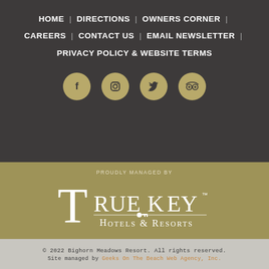HOME | DIRECTIONS | OWNERS CORNER | CAREERS | CONTACT US | EMAIL NEWSLETTER | PRIVACY POLICY & WEBSITE TERMS
[Figure (illustration): Four social media icons in gold circles: Facebook, Instagram, Twitter, TripAdvisor]
PROUDLY MANAGED BY
[Figure (logo): True Key Hotels & Resorts logo in white on gold background]
© 2022 Bighorn Meadows Resort. All rights reserved. Site managed by Geeks On The Beach Web Agency, Inc.